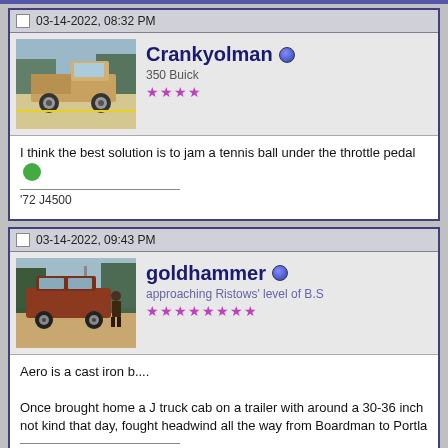03-14-2022, 08:32 PM
[Figure (photo): Profile avatar showing a vintage brown/tan pickup truck in a parking lot]
Crankyolman
350 Buick
★★★★
I think the best solution is to jam a tennis ball under the throttle pedal 🎵
'72 J4500
03-14-2022, 09:43 PM
[Figure (photo): Profile avatar showing a red/brown SUV/truck with a person standing next to it in a field]
goldhammer
approaching Ristows' level of B.S
★★★★★★★★
Aero is a cast iron b....

Once brought home a J truck cab on a trailer with around a 30-36 inch not kind that day, fought headwind all the way from Boardman to Portla

Art
ASE Master Collision Tech
"Beast" - 81 "S" W/T, 85-360, T-18, Lock-rite,wag alloys, 31-10.50 Pro bumper/door strainer(tested and approved).